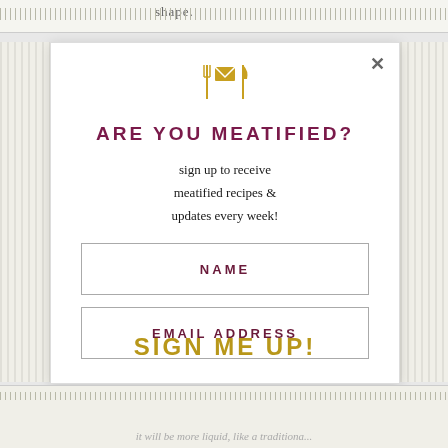shape.
[Figure (illustration): Email envelope icon with fork and knife on either side, gold/yellow color]
ARE YOU MEATIFIED?
sign up to receive meatified recipes & updates every week!
NAME
EMAIL ADDRESS
SIGN ME UP!
it will be more liquid, like a traditiona...